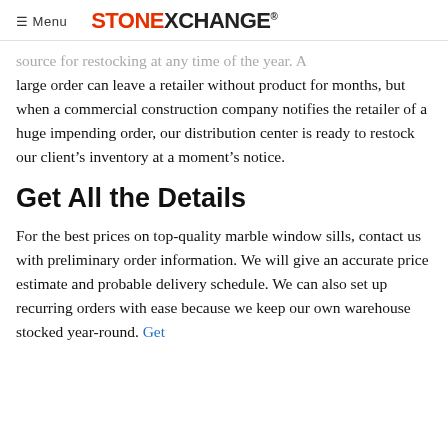≡ Menu  STONEXCHANGE®
source for restocking at any time of the year. A large order can leave a retailer without product for months, but when a commercial construction company notifies the retailer of a huge impending order, our distribution center is ready to restock our client's inventory at a moment's notice.
Get All the Details
For the best prices on top-quality marble window sills, contact us with preliminary order information. We will give an accurate price estimate and probable delivery schedule. We can also set up recurring orders with ease because we keep our own warehouse stocked year-round. Get